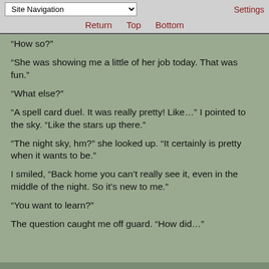Site Navigation | Return  Top  Bottom | Settings
“How so?”
“She was showing me a little of her job today. That was fun.”
“What else?”
“A spell card duel. It was really pretty! Like…” I pointed to the sky. “Like the stars up there.”
“The night sky, hm?” she looked up. “It certainly is pretty when it wants to be.”
I smiled, “Back home you can’t really see it, even in the middle of the night. So it’s new to me.”
“You want to learn?”
The question caught me off guard. “How did…”